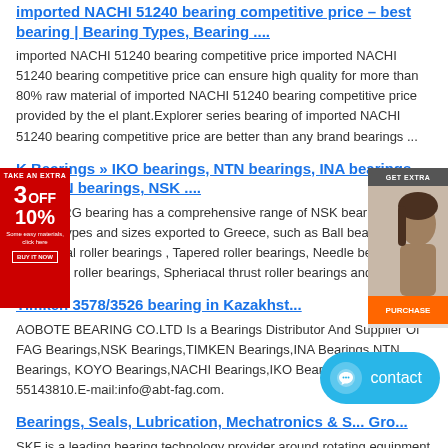imported NACHI 51240 bearing competitive price – best bearing | Bearing Types, Bearing ....
imported NACHI 51240 bearing competitive price imported NACHI 51240 bearing competitive price can ensure high quality for more than 80% raw material of imported NACHI 51240 bearing competitive price provided by the el plant.Explorer series bearing of imported NACHI 51240 bearing competitive price are better than any brand bearings ...
K Bearings » IKO bearings, NTN bearings, INA bearings, TIMKEN bearings, NSK ....
China BRG bearing has a comprehensive range of NSK bearings in various types and sizes exported to Greece, such as Ball bearings, Cylindrical roller bearings , Tapered roller bearings, Needle bearings, Spherical roller bearings, Spheriacal thrust roller bearings and so on.
Timken 3578/3526 bearing in Kazakhst...
AOBOTE BEARING CO.LTD Is a Bearings Distributor And Supplier Of FAG Bearings,NSK Bearings,TIMKEN Bearings,INA Bearings,NTN Bearings, KOYO Bearings,NACHI Bearings,IKO Bearings.Tel:00852-55143810.E-mail:info@abt-fag.com.
Bearings, Seals, Lubrication, Mechatronics & S... Gro...
SKF is a leading bearing technology provider around rotating equipment since
[Figure (other): Red discount advertisement badge showing 3 OFF 10%]
[Figure (other): Right side advertisement with woman's face image]
[Figure (other): Blue contact button with chat icon]